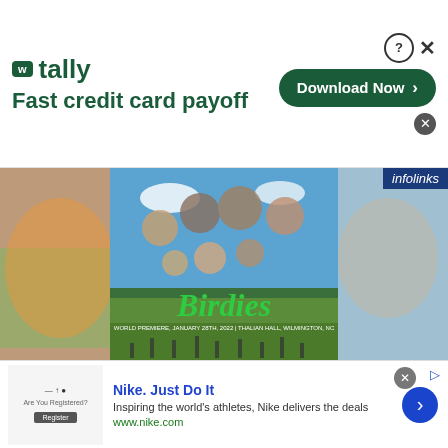[Figure (advertisement): Tally app advertisement with logo, 'Fast credit card payoff' tagline, and 'Download Now' button]
[Figure (photo): Movie poster for 'Birdies' showing group of people on a golf course, with title in green script. Text reads: World Premiere, January 28th, 2022 | Thalian Hall, Wilmington, NC]
infolinks
'Birdies' making a landing on TV screens Tuesday
infolinks
[Figure (advertisement): Nike 'Just Do It' advertisement. Inspiring the world's athletes, Nike delivers the deals. www.nike.com]